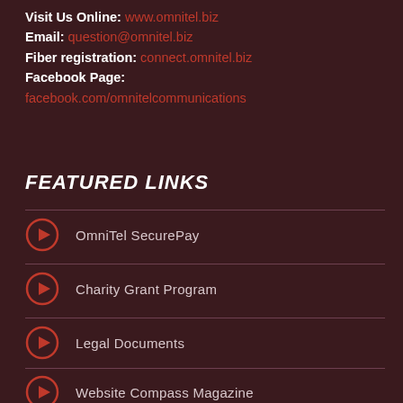Visit Us Online: www.omnitel.biz
Email: question@omnitel.biz
Fiber registration: connect.omnitel.biz
Facebook Page:
facebook.com/omnitelcommunications
FEATURED LINKS
OmniTel SecurePay
Charity Grant Program
Legal Documents
Website Compass Magazine